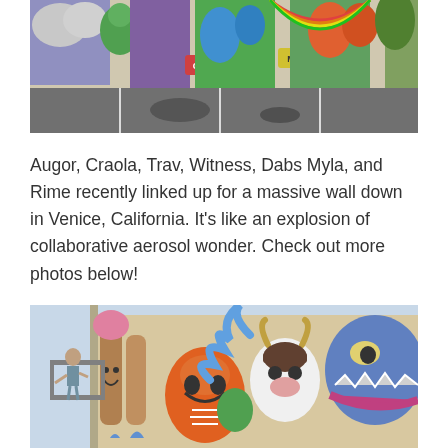[Figure (photo): Colorful graffiti mural on a wall behind a parking lot. Artists include Craola, Myla and others. Wide shot showing the full wall with cartoon and illustrative characters in vibrant colors.]
Augor, Craola, Trav, Witness, Dabs Myla, and Rime recently linked up for a massive wall down in Venice, California. It's like an explosion of collaborative aerosol wonder. Check out more photos below!
[Figure (photo): Close-up photo of artists painting a large mural. A person on scaffolding is visible. Characters include colorful cartoon monsters and creatures including an orange pumpkin-like figure, a cow character, and a large blue dragon/monster face on the right.]